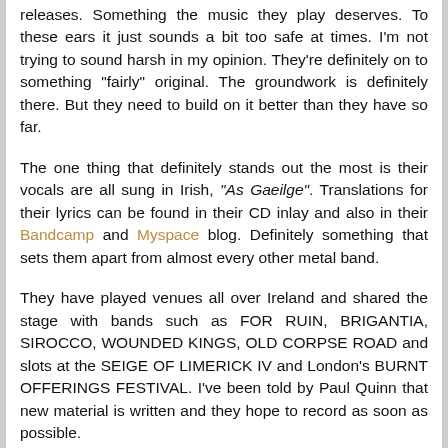releases. Something the music they play deserves. To these ears it just sounds a bit too safe at times. I'm not trying to sound harsh in my opinion. They're definitely on to something "fairly" original. The groundwork is definitely there. But they need to build on it better than they have so far.

The one thing that definitely stands out the most is their vocals are all sung in Irish, "As Gaeilge". Translations for their lyrics can be found in their CD inlay and also in their Bandcamp and Myspace blog. Definitely something that sets them apart from almost every other metal band.

They have played venues all over Ireland and shared the stage with bands such as FOR RUIN, BRIGANTIA, SIROCCO, WOUNDED KINGS, OLD CORPSE ROAD and slots at the SEIGE OF LIMERICK IV and London's BURNT OFFERINGS FESTIVAL. I've been told by Paul Quinn that new material is written and they hope to record as soon as possible.